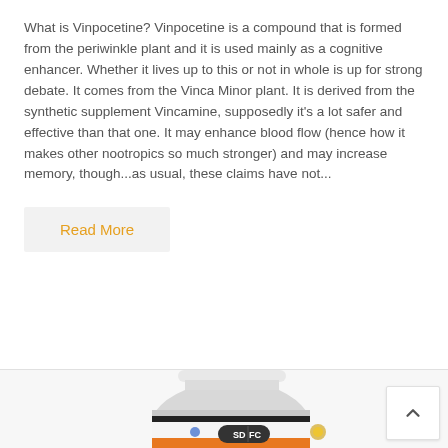What is Vinpocetine? Vinpocetine is a compound that is formed from the periwinkle plant and it is used mainly as a cognitive enhancer. Whether it lives up to this or not in whole is up for strong debate. It comes from the Vinca Minor plant. It is derived from the synthetic supplement Vincamine, supposedly it's a lot safer and effective than that one. It may enhance blood flow (hence how it makes other nootropics so much stronger) and may increase memory, though...as usual, these claims have not...
Read More
[Figure (photo): A white supplement bottle with an orange and black label showing 'SD FC' branding, partially visible at the bottom of the page]